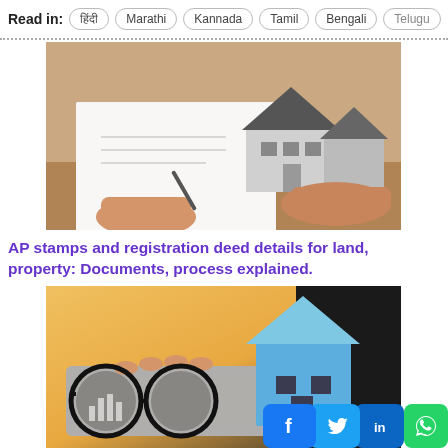Read in: हिंदी | Marathi | Kannada | Tamil | Bengali | Telugu
[Figure (photo): Hands signing a document with a miniature house model on a table]
AP stamps and registration deed details for land, property: Documents, process explained.
[Figure (photo): Person typing on a keyboard with glasses and a blue paper house model in the foreground, with social media icons overlay]